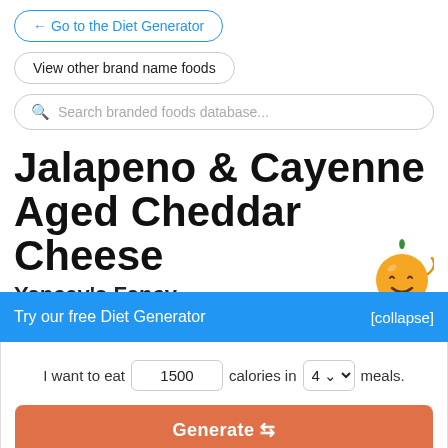← Go to the Diet Generator
View other brand name foods
Search branded foods database...
Jalapeno & Cayenne Aged Cheddar Cheese
Yancey's Fancy
Try our free Diet Generator
[collapse]
I want to eat 1500 calories in 4 meals.
Generate